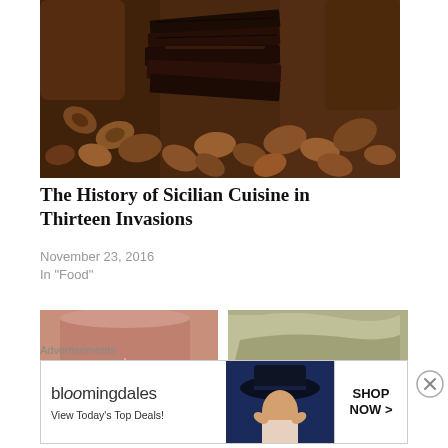[Figure (photo): Stacked dark chocolate bars with cocoa beans spread around them on a wooden surface]
The History of Sicilian Cuisine in Thirteen Invasions
November 23, 2016
In "Food"
[Figure (photo): Two product images: a pink/rose cylindrical product on the left, and a furry/textured item on the right]
Advertisements
[Figure (screenshot): Bloomingdale's advertisement banner reading 'bloomingdales View Today's Top Deals!' with a woman in a hat and 'SHOP NOW >' button]